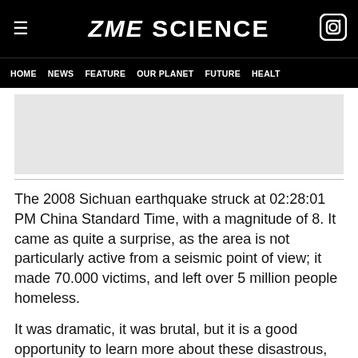ZME SCIENCE
HOME  NEWS  FEATURE  OUR PLANET  FUTURE  HEALT
[Figure (other): Gray advertisement placeholder box]
The 2008 Sichuan earthquake struck at 02:28:01 PM China Standard Time, with a magnitude of 8. It came as quite a surprise, as the area is not particularly active from a seismic point of view; it made 70.000 victims, and left over 5 million people homeless.
It was dramatic, it was brutal, but it is a good opportunity to learn more about these disastrous, yet natural events which take